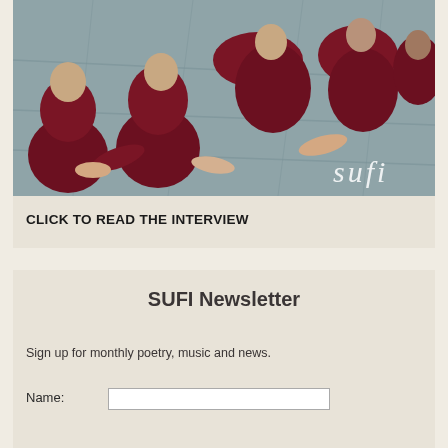[Figure (photo): Overhead/aerial view of several Buddhist monks in dark red/maroon robes gathered on a stone-paved surface, some reaching out with hands toward each other. The word 'sufi' appears in white italic text in the lower-right corner of the photo.]
CLICK TO READ THE INTERVIEW
SUFI Newsletter
Sign up for monthly poetry, music and news.
Name: